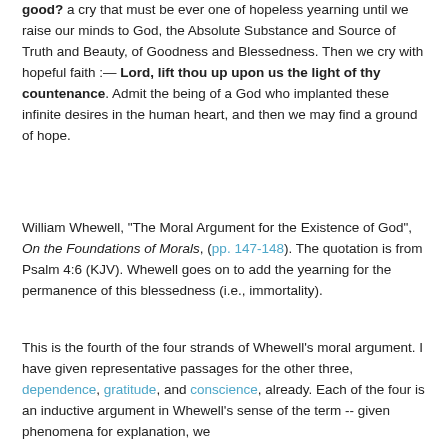good? a cry that must be ever one of hopeless yearning until we raise our minds to God, the Absolute Substance and Source of Truth and Beauty, of Goodness and Blessedness. Then we cry with hopeful faith :— Lord, lift thou up upon us the light of thy countenance. Admit the being of a God who implanted these infinite desires in the human heart, and then we may find a ground of hope.
William Whewell, "The Moral Argument for the Existence of God", On the Foundations of Morals, (pp. 147-148). The quotation is from Psalm 4:6 (KJV). Whewell goes on to add the yearning for the permanence of this blessedness (i.e., immortality).
This is the fourth of the four strands of Whewell's moral argument. I have given representative passages for the other three, dependence, gratitude, and conscience, already. Each of the four is an inductive argument in Whewell's sense of the term -- given phenomena for explanation, we